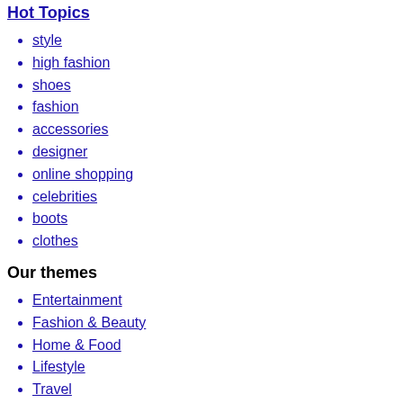Hot Topics
style
high fashion
shoes
fashion
accessories
designer
online shopping
celebrities
boots
clothes
Our themes
Entertainment
Fashion & Beauty
Home & Food
Lifestyle
Travel
Money & Career
Motoring
Social
All channels